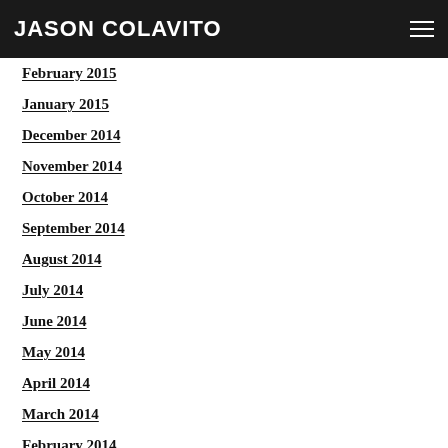JASON COLAVITO
February 2015
January 2015
December 2014
November 2014
October 2014
September 2014
August 2014
July 2014
June 2014
May 2014
April 2014
March 2014
February 2014
January 2014
December 2013
November 2013